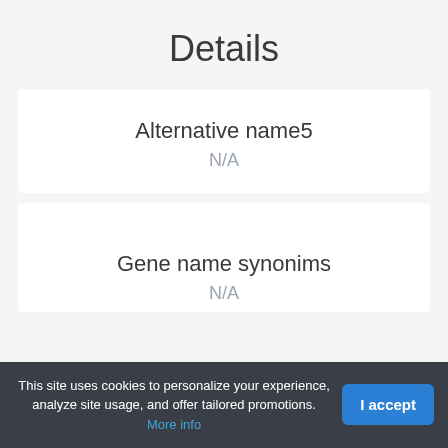Details
Alternative name5
N/A
Gene name synonims
N/A
This site uses cookies to personalize your experience, analyze site usage, and offer tailored promotions. More info